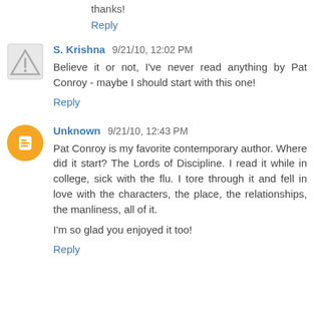thanks!
Reply
S. Krishna 9/21/10, 12:02 PM
Believe it or not, I've never read anything by Pat Conroy - maybe I should start with this one!
Reply
Unknown 9/21/10, 12:43 PM
Pat Conroy is my favorite contemporary author. Where did it start? The Lords of Discipline. I read it while in college, sick with the flu. I tore through it and fell in love with the characters, the place, the relationships, the manliness, all of it.
I'm so glad you enjoyed it too!
Reply